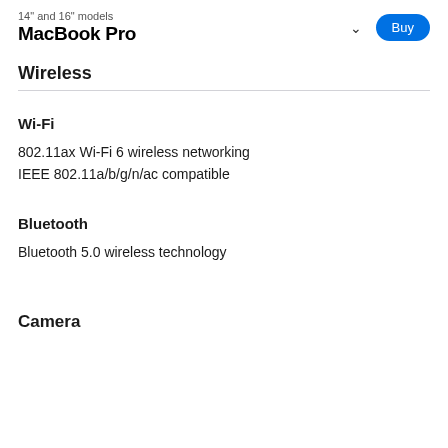14" and 16" models MacBook Pro
Wireless
Wi-Fi
802.11ax Wi-Fi 6 wireless networking
IEEE 802.11a/b/g/n/ac compatible
Bluetooth
Bluetooth 5.0 wireless technology
Camera